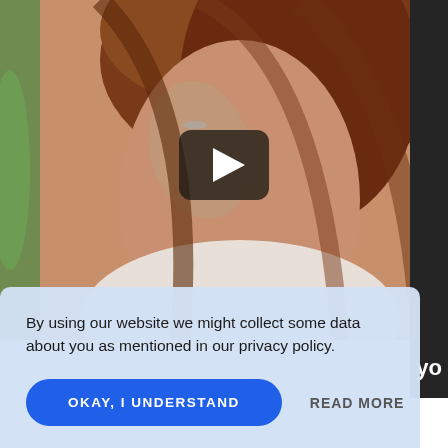[Figure (photo): A woman with auburn hair touching her chin/neck, wearing a white shirt. A video play button overlay is visible in the center. Green foliage visible on the left edge, dark panel on right edge.]
By using our website we might collect some data about you as mentioned in our privacy policy.
OKAY, I UNDERSTAND
READ MORE